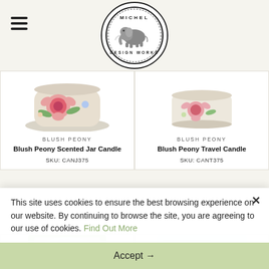Michel Design Works
[Figure (logo): Michel Design Works circular logo with elephant illustration]
BLUSH PEONY
Blush Peony Scented Jar Candle
SKU: CANJ375
BLUSH PEONY
Blush Peony Travel Candle
SKU: CANT375
[Figure (photo): Partial product image - floral design item]
[Figure (photo): Partial product image - floral meadow design]
This site uses cookies to ensure the best browsing experience on our website. By continuing to browse the site, you are agreeing to our use of cookies. Find Out More
Accept →